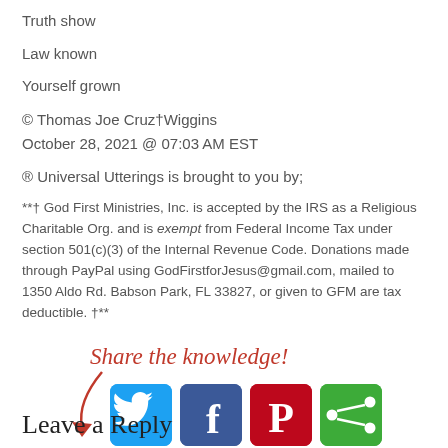Truth show
Law known
Yourself grown
© Thomas Joe Cruz†Wiggins
October 28, 2021 @ 07:03 AM EST
® Universal Utterings is brought to you by;
**† God First Ministries, Inc. is accepted by the IRS as a Religious Charitable Org. and is exempt from Federal Income Tax under section 501(c)(3) of the Internal Revenue Code. Donations made through PayPal using GodFirstforJesus@gmail.com, mailed to 1350 Aldo Rd. Babson Park, FL 33827, or given to GFM are tax deductible. †**
[Figure (infographic): Share the knowledge! text with curved arrow and four social media icons: Twitter (blue bird), Facebook (dark blue f), Pinterest (red P), and AddThis (green share icon)]
Leave a Reply